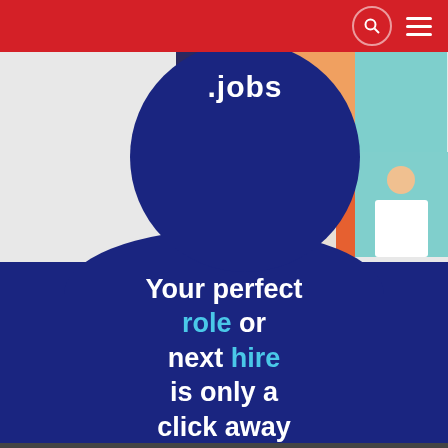Navigation bar with search and menu icons
[Figure (photo): Photo collage of diverse people with .jobs logo overlay on a dark blue circle background]
Your perfect role or next hire is only a click away